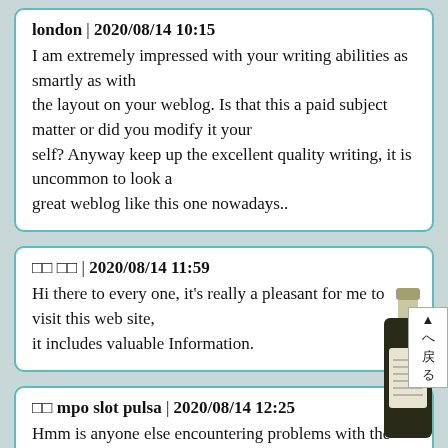london | 2020/08/14 10:15
I am extremely impressed with your writing abilities as smartly as with the layout on your weblog. Is that this a paid subject matter or did you modify it your self? Anyway keep up the excellent quality writing, it is uncommon to look a great weblog like this one nowadays..
□□ □□ | 2020/08/14 11:59
Hi there to every one, it's really a pleasant for me to visit this web site, it includes valuable Information.
□□ mpo slot pulsa | 2020/08/14 12:25
Hmm is anyone else encountering problems with the pictures on this blog loading? I'm trying to determine if its a problem on my end or if